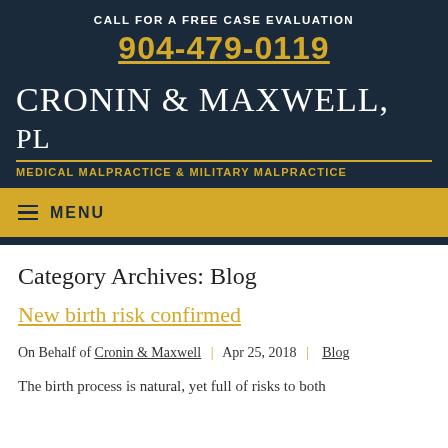CALL FOR A FREE CASE EVALUATION
904-479-0119
CRONIN & MAXWELL, PL
MEDICAL MALPRACTICE & MILITARY MALPRACTICE
MENU
Category Archives: Blog
New birth risk confirmed
On Behalf of Cronin & Maxwell | Apr 25, 2018 | Blog
The birth process is natural, yet full of risks to both